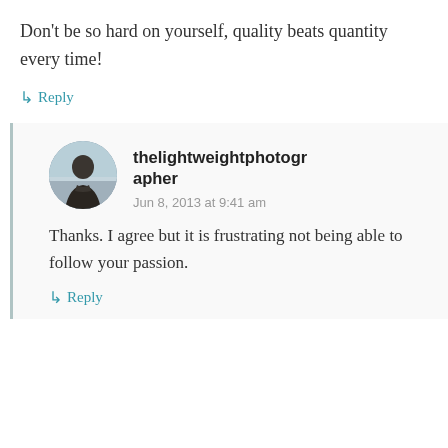Don't be so hard on yourself, quality beats quantity every time!
↳ Reply
thelightweightphotographer
Jun 8, 2013 at 9:41 am
Thanks. I agree but it is frustrating not being able to follow your passion.
↳ Reply